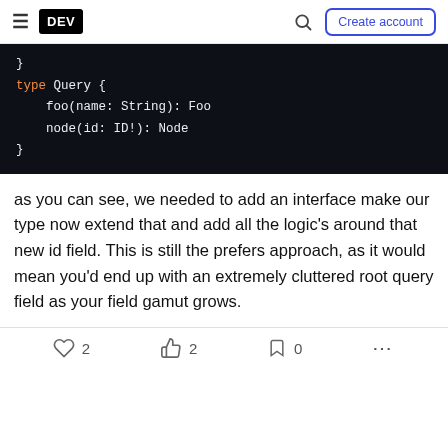DEV | Create account
[Figure (screenshot): Dark-themed code block showing GraphQL schema: closing brace, blank line, 'type Query {', 'foo(name: String): Foo', 'node(id: ID!): Node', closing brace]
as you can see, we needed to add an interface make our type now extend that and add all the logic's around that new id field. This is still the prefers approach, as it would mean you'd end up with an extremely cluttered root query field as your field gamut grows.
2  2  0  ...